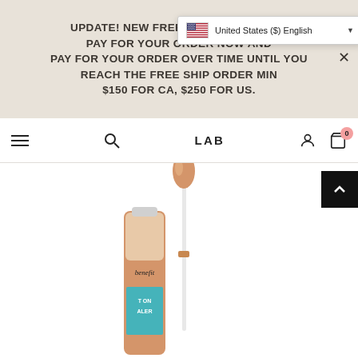UPDATE! NEW FREE SHIPPING RATE — PAY FOR YOUR ORDER NOW AND PAY FOR YOUR ORDER OVER TIME UNTIL YOU REACH THE FREE SHIP ORDER MIN $150 FOR CA, $250 FOR US.
United States ($) English
LAB
[Figure (screenshot): Benefit Cosmetics concealer product with applicator wand, open tube showing peach/beige liquid concealer with brush tip, on white background. Product labeled 'benefit' with partial text 'ON ALER' visible.]